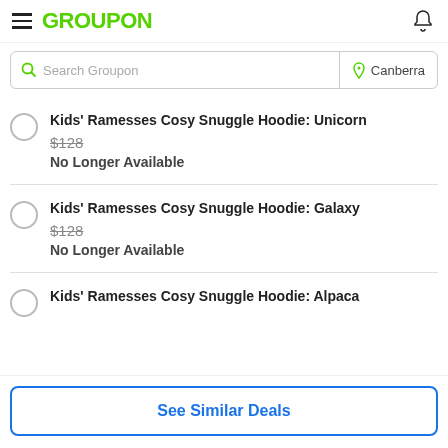GROUPON
Search Groupon | Canberra
Kids' Ramesses Cosy Snuggle Hoodie: Unicorn
$128
No Longer Available
Kids' Ramesses Cosy Snuggle Hoodie: Galaxy
$128
No Longer Available
Kids' Ramesses Cosy Snuggle Hoodie: Alpaca
See Similar Deals